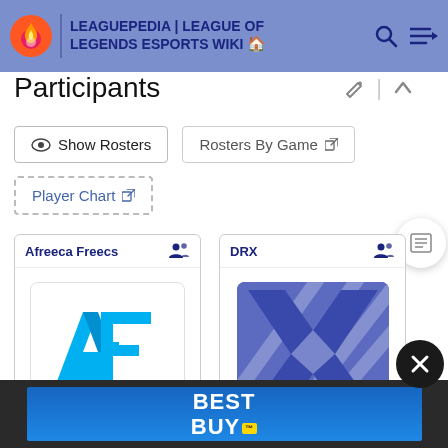LEAGUEPEDIA | LEAGUE OF LEGENDS ESPORTS WIKI
Participants
Show Rosters
Rosters By Game ↗
Player Chart ↗
[Figure (logo): Afreeca Freecs team card with AF logo (blue angular A and F lettermark)]
[Figure (logo): DRX team card with DRX logo (blue X shape with diagonal stripes)]
[Figure (advertisement): Best Buy advertisement banner with blue gradient background]